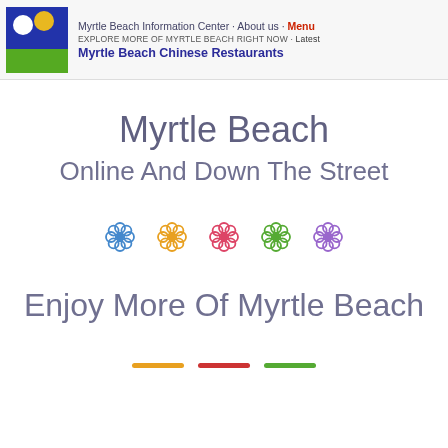Myrtle Beach Information Center · About us · Menu
EXPLORE MORE OF MYRTLE BEACH RIGHT NOW · Latest
Myrtle Beach Chinese Restaurants
Myrtle Beach
Online And Down The Street
[Figure (illustration): Five decorative flower icons in a row, colored blue, orange, red/pink, green, and purple]
Enjoy More Of Myrtle Beach
[Figure (illustration): Three horizontal decorative divider lines in orange, red, and green]